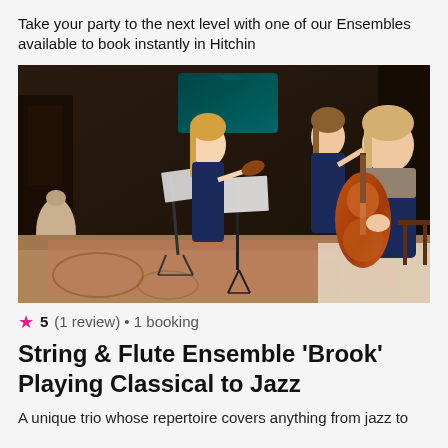Take your party to the next level with one of our Ensembles available to book instantly in Hitchin
[Figure (photo): Three female musicians performing as a string and flute ensemble in a grand interior setting. One plays violin, one plays cello, and one plays flute. They are dressed in blue formal wear and positioned around a music stand on an ornate patterned floor.]
★ 5 (1 review) • 1 booking
String & Flute Ensemble 'Brook' Playing Classical to Jazz
A unique trio whose repertoire covers anything from jazz to